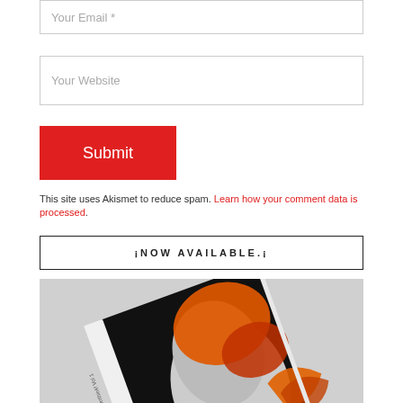Your Email *
Your Website
Submit
This site uses Akismet to reduce spam. Learn how your comment data is processed.
¡NOW AVAILABLE.¡
[Figure (photo): A book with a cover showing a classical marble bust head overlaid with orange/red balloon-like shapes and orange torn paper or crab imagery on a black background. The book spine text reads 'JAKE STEINBACH' and 'Irrthink! Vol 1'. The book is photographed at an angle on a light grey surface.]